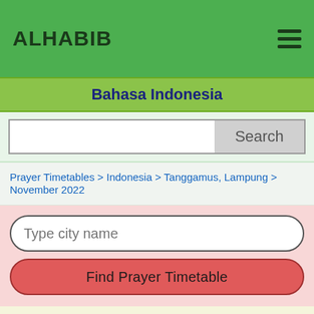ALHABIB
Bahasa Indonesia
Search
Prayer Timetables > Indonesia > Tanggamus, Lampung > November 2022
Type city name
Find Prayer Timetable
November 2022 Monthly Prayer Timetable (PDF, Excel versions): Tanggamus, Lampung, Indonesia